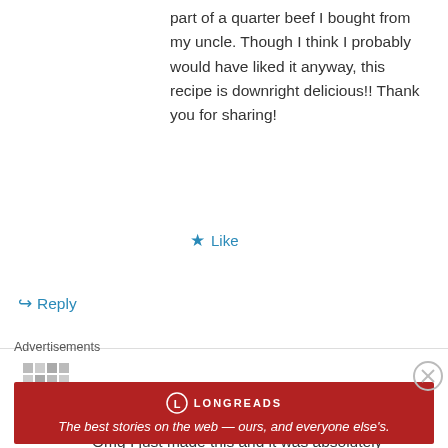part of a quarter beef I bought from my uncle. Though I think I probably would have liked it anyway, this recipe is downright delicious!! Thank you for sharing!
★ Like
↪ Reply
Tilly on August 7, 2014 at 11:30 am
Omg I just made this and it was absolutely delicious will definitely be making it again!! I used lambs liver because I couldn't get calves liver fresh but it seemed to work just as well!!
Advertisements
[Figure (other): Longreads advertisement banner with red background reading: The best stories on the web — ours, and everyone else's.]